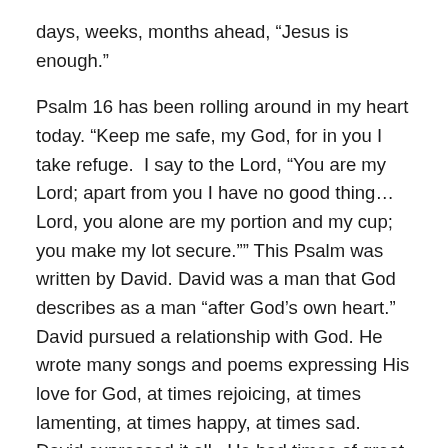days, weeks, months ahead, “Jesus is enough.”
Psalm 16 has been rolling around in my heart today. “Keep me safe, my God, for in you I take refuge.  I say to the Lord, “You are my Lord; apart from you I have no good thing… Lord, you alone are my portion and my cup; you make my lot secure.”” This Psalm was written by David.  David was a man that God describes as a man “after God’s own heart.”  David pursued a relationship with God.  He wrote many songs and poems expressing His love for God, at times rejoicing, at times lamenting, at times happy, at times sad.  David expressed it all.  He had times of great victory and times of great defeat, times of overwhelming joy and times of overwhelming grief.  But in it all He said, “God you are my portion.”  “You are my everything.”  David didn’t allow fear to rule over him because he had confidence that he would see God’s